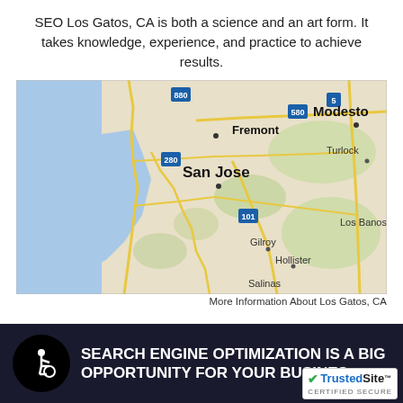SEO Los Gatos, CA is both a science and an art form. It takes knowledge, experience, and practice to achieve results.
[Figure (map): Google Maps screenshot showing the San Jose, CA area including Fremont, Modesto, Turlock, Los Banos, Gilroy, Hollister, and Salinas, with highways 880, 580, 5, 280, and 101 marked.]
More Information About Los Gatos, CA
SEARCH ENGINE OPTIMIZATION IS A BIG OPPORTUNITY FOR YOUR BUSINESS